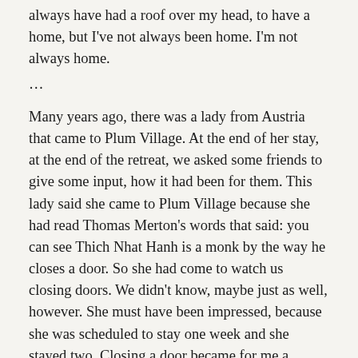always have had a roof over my head, to have a home, but I've not always been home. I'm not always home.
...
Many years ago, there was a lady from Austria that came to Plum Village. At the end of her stay, at the end of the retreat, we asked some friends to give some input, how it had been for them. This lady said she came to Plum Village because she had read Thomas Merton's words that said: you can see Thich Nhat Hanh is a monk by the way he closes a door. So she had come to watch us closing doors. We didn't know, maybe just as well, however. She must have been impressed, because she was scheduled to stay one week and she stayed two. Closing a door became for me a practice: how do I close doors?
I think we all have doors somewhere that we can open but this is the door that...